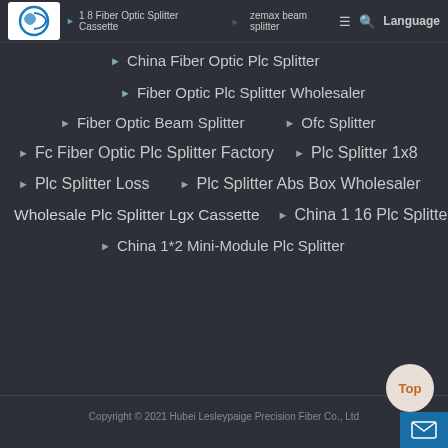1 8 Fiber Optic Splitter Cassette | zemax beam splitter
China Fiber Optic Plc Splitter
Fiber Optic Plc Splitter Wholesaler
Fiber Optic Beam Splitter
Ofc Splitter
Fc Fiber Optic Plc Splitter Factory
Plc Splitter 1x8
Plc Splitter Loss
Plc Splitter Abs Box Wholesaler
Wholesale Plc Splitter Lgx Cassette
China 1 16 Plc Splitter
China 1*2 Mini-Module Plc Splitter
Copyright © 2021 Hubei Lesleypaige Precision Fiber Co., Ltd